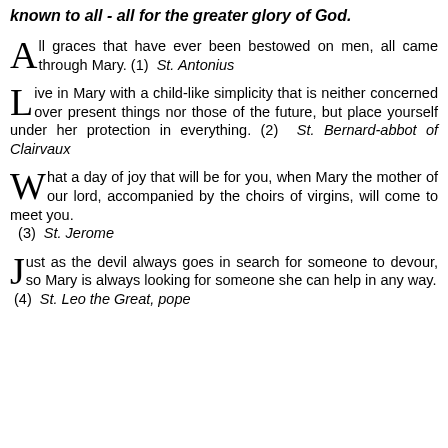known to all - all for the greater glory of God.
All graces that have ever been bestowed on men, all came through Mary. (1) St. Antonius
Live in Mary with a child-like simplicity that is neither concerned over present things nor those of the future, but place yourself under her protection in everything. (2) St. Bernard-abbot of Clairvaux
What a day of joy that will be for you, when Mary the mother of our lord, accompanied by the choirs of virgins, will come to meet you. (3) St. Jerome
Just as the devil always goes in search for someone to devour, so Mary is always looking for someone she can help in any way. (4) St. Leo the Great, pope